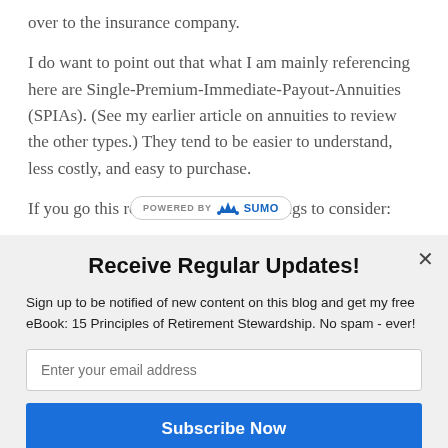over to the insurance company.
I do want to point out that what I am mainly referencing here are Single-Premium-Immediate-Payout-Annuities (SPIAs). (See my earlier article on annuities to review the other types.) They tend to be easier to understand, less costly, and easy to purchase.
If you go this route, here are some things to consider:
Receive Regular Updates!
Sign up to be notified of new content on this blog and get my free eBook: 15 Principles of Retirement Stewardship. No spam - ever!